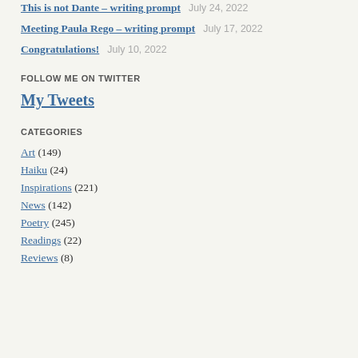This is not Dante – writing prompt   July 24, 2022
Meeting Paula Rego – writing prompt   July 17, 2022
Congratulations!   July 10, 2022
FOLLOW ME ON TWITTER
My Tweets
CATEGORIES
Art (149)
Haiku (24)
Inspirations (221)
News (142)
Poetry (245)
Readings (22)
Reviews (8)